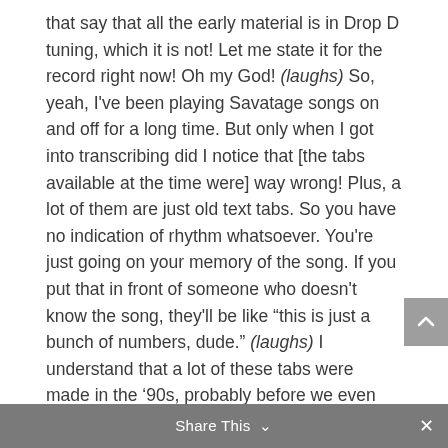that say that all the early material is in Drop D tuning, which it is not! Let me state it for the record right now! Oh my God! (laughs) So, yeah, I've been playing Savatage songs on and off for a long time. But only when I got into transcribing did I notice that [the tabs available at the time were] way wrong! Plus, a lot of them are just old text tabs. So you have no indication of rhythm whatsoever. You're just going on your memory of the song. If you put that in front of someone who doesn't know the song, they'll be like "this is just a bunch of numbers, dude." (laughs) I understand that a lot of these tabs were made in the '90s, probably before we even had this notation software. So, I understand it was a valiant effort by some people before the days of YouTube and a lot of the technology that's available now that makes
Share This ∨